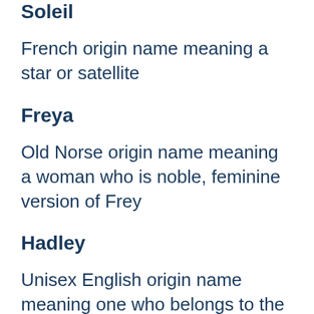Soleil
French origin name meaning a star or satellite
Freya
Old Norse origin name meaning a woman who is noble, feminine version of Frey
Hadley
Unisex English origin name meaning one who belongs to the fields of Hadda